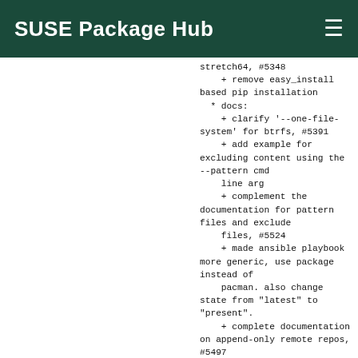SUSE Package Hub
stretch64, #5348
    + remove easy_install based pip installation
  * docs:
    + clarify '--one-file-system' for btrfs, #5391
    + add example for excluding content using the --pattern cmd
    line arg
    + complement the documentation for pattern files and exclude
    files, #5524
    + made ansible playbook more generic, use package instead of
    pacman. also change state from "latest" to "present".
    + complete documentation on append-only remote repos, #5497
    + internals: rather talk about target size than statistics,
    [#5336]
    + new compression algorithm policy, #1633 #5505
    + faq: add a hint on sleeping computer, #5301
    + note requirements for full disk access on macOS